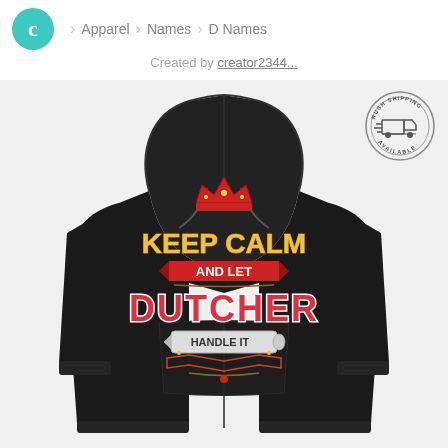C > Apparel > Names > D Names
Created by creator2344...
[Figure (photo): Black hoodie with graphic print reading 'Keep Calm and Let DUTCHER Handle It' with crown, banners, and decorative elements. Rush Shipping Available badge in top right corner.]